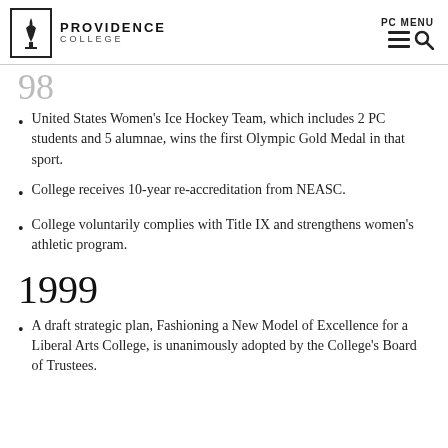Providence College | PC MENU
98 (partial year heading, cropped)
United States Women's Ice Hockey Team, which includes 2 PC students and 5 alumnae, wins the first Olympic Gold Medal in that sport.
College receives 10-year re-accreditation from NEASC.
College voluntarily complies with Title IX and strengthens women's athletic program.
1999
A draft strategic plan, Fashioning a New Model of Excellence for a Liberal Arts College, is unanimously adopted by the College's Board of Trustees.